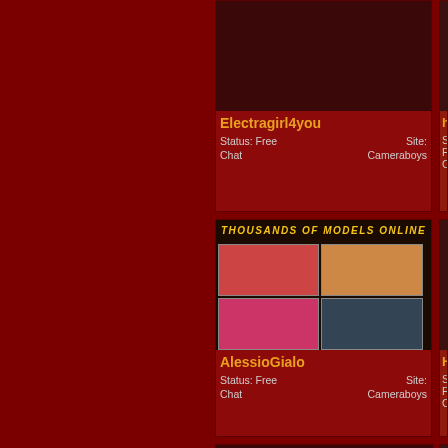[Figure (screenshot): Thumbnail image placeholder for Electragirl4you profile]
Electragirl4you
Status: Free
Chat
Site: Cameraboys
[Figure (screenshot): Thumbnail image placeholder for hooormyy profile (partially visible on right)]
hooormyy
Status: Free
Chat
[Figure (photo): Collage banner reading THOUSANDS OF MODELS ONLINE with multiple model photos for AlessioGialo]
AlessioGialo
Status: Free
Chat
Site: Cameraboys
[Figure (screenshot): HotZoe profile thumbnail (partially visible on right)]
HotZoe
Status: Free
Chat